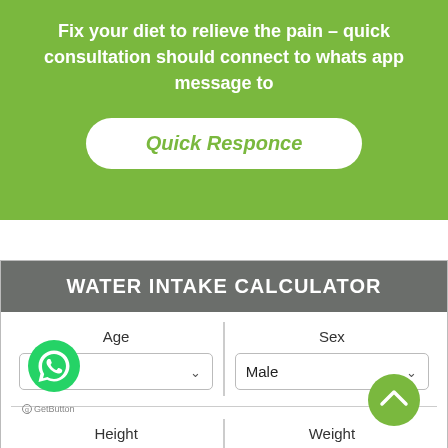Fix your diet to relieve the pain – quick consultation should connect to whats app message to
[Figure (screenshot): Green rounded button with text 'Quick Responce' in green italic font on white background]
WATER INTAKE CALCULATOR
| Age | Sex |
| --- | --- |
| 14-18 ∨ | Male ∨ |
| Height | Weight |
[Figure (other): WhatsApp chat bubble icon button (green circle) and GetButton label at bottom left, plus green scroll-up arrow button at bottom right]